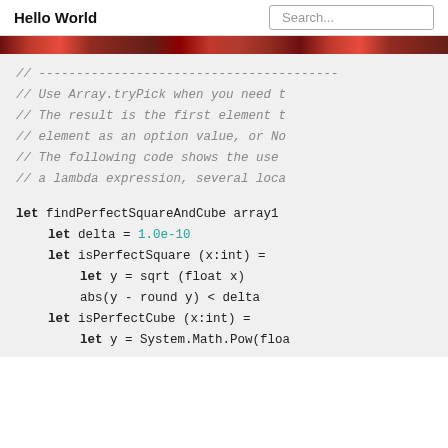Hello World
Search...
[Figure (photo): Red decorative banner image]
// ----------------------------------------
// Use Array.tryPick when you need t
// The result is the first element t
// element as an option value, or No
// The following code shows the use
// a lambda expression, several loca
let findPerfectSquareAndCube array1
    let delta = 1.0e-10
    let isPerfectSquare (x:int) =
        let y = sqrt (float x)
        abs(y - round y) < delta
    let isPerfectCube (x:int) =
        let y = System.Math.Pow(floa